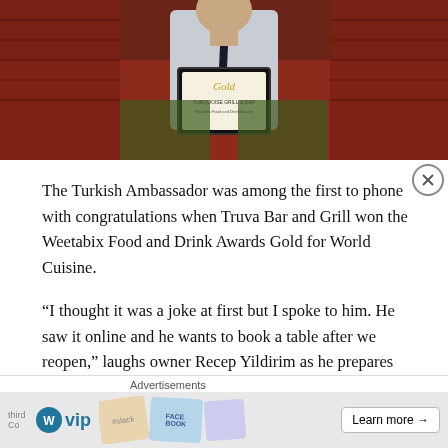[Figure (photo): Person sitting on red patterned sofa/cushions holding a framed Gold award certificate]
The Turkish Ambassador was among the first to phone with congratulations when Truva Bar and Grill won the Weetabix Food and Drink Awards Gold for World Cuisine.
“I thought it was a joke at first but I spoke to him. He saw it online and he wants to book a table after we reopen,” laughs owner Recep Yildirim as he prepares his Towcester restaurant for the return of customers on May 17.
“We had three judges come here in secret. It is not just the food,
Advertisements
[Figure (screenshot): Advertisement banner featuring WordPress VIP logo and social media brand cards (Slack, Facebook) with a Learn more button]